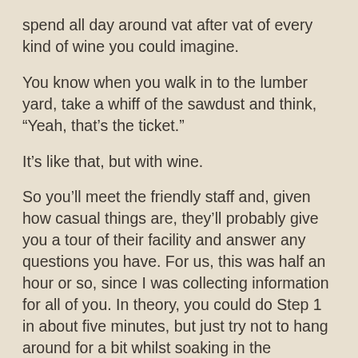spend all day around vat after vat of every kind of wine you could imagine.
You know when you walk in to the lumber yard, take a whiff of the sawdust and think, “Yeah, that’s the ticket.”
It’s like that, but with wine.
So you’ll meet the friendly staff and, given how casual things are, they’ll probably give you a tour of their facility and answer any questions you have. For us, this was half an hour or so, since I was collecting information for all of you. In theory, you could do Step 1 in about five minutes, but just try not to hang around for a bit whilst soaking in the atmosphere
Once you’re satisfied that the facility checks out, you decide what wines you want and in what batch sizes. You can choose from a wide variety of grapes or juices from